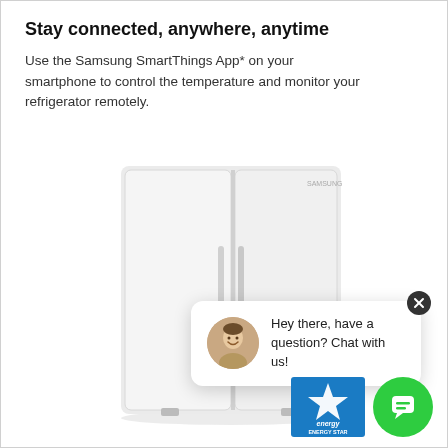Stay connected, anywhere, anytime
Use the Samsung SmartThings App* on your smartphone to control the temperature and monitor your refrigerator remotely.
[Figure (photo): White Samsung french-door refrigerator shown from the front against a white background]
[Figure (screenshot): Live chat popup with a support agent avatar and text: Hey there, have a question? Chat with us!, with a green chat button and close X button]
[Figure (logo): ENERGY STAR certification badge]